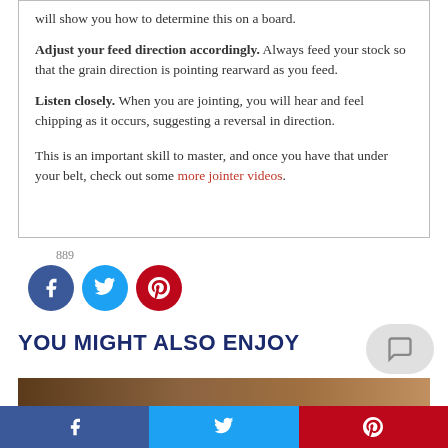will show you how to determine this on a board. Adjust your feed direction accordingly. Always feed your stock so that the grain direction is pointing rearward as you feed. Listen closely. When you are jointing, you will hear and feel chipping as it occurs, suggesting a reversal in direction.
This is an important skill to master, and once you have that under your belt, check out some more jointer videos.
[Figure (infographic): Social share count (889) with Facebook, Twitter, and Pinterest circular icon buttons]
YOU MIGHT ALSO ENJOY
[Figure (screenshot): Premium content thumbnail preview with PREMIUM label badge]
[Figure (infographic): Bottom share bar with Facebook, Twitter, and Pinterest share buttons]